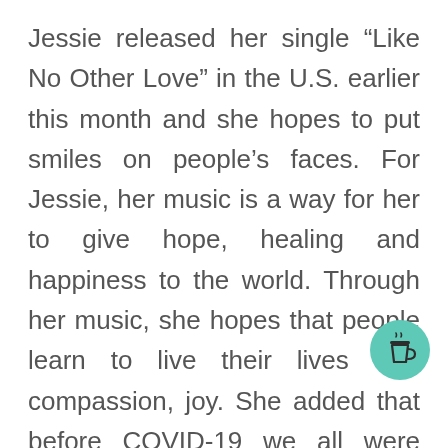Jessie released her single “Like No Other Love” in the U.S. earlier this month and she hopes to put smiles on people’s faces. For Jessie, her music is a way for her to give hope, healing and happiness to the world. Through her music, she hopes that people learn to live their lives with compassion, joy. She added that before COVID-19 we all were living life at a fever pitch and at a speed in which we could not sustain. “Many lives have been lost and it breaks my heart. We’ve b forced to re-examine our priorities,”
[Figure (illustration): Teal/mint circular button with a coffee cup icon]